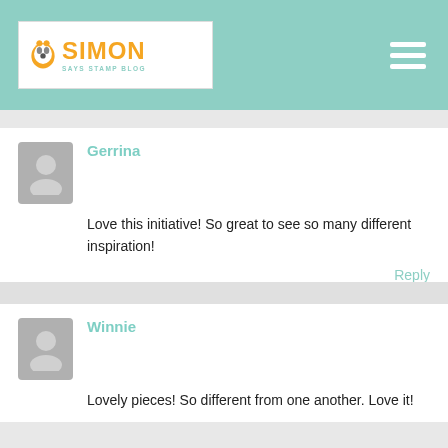Simon Says Stamp Blog
Gerrina
Love this initiative! So great to see so many different inspiration!
Reply
Winnie
Lovely pieces! So different from one another. Love it!